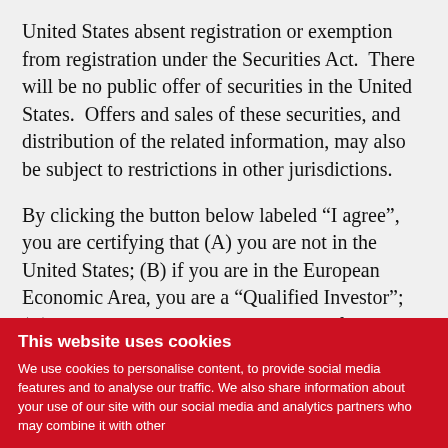United States absent registration or exemption from registration under the Securities Act.  There will be no public offer of securities in the United States.  Offers and sales of these securities, and distribution of the related information, may also be subject to restrictions in other jurisdictions.
By clicking the button below labeled “I agree”, you are certifying that (A) you are not in the United States; (B) if you are in the European Economic Area, you are a “Qualified Investor”; (C) you are not accessing this portion of the website from Australia, Canada or Japan; (D) you are not a “U.S. person” (as such term is defined in Regulation S under the Securities Act); and (E) you are not located in a jurisdiction where it is unlawful to do so.
This website uses cookies
We use cookies to personalise content, to provide social media features and to analyse our traffic. We also share information about your use of our site with our social media and analytics partners who may combine it with other